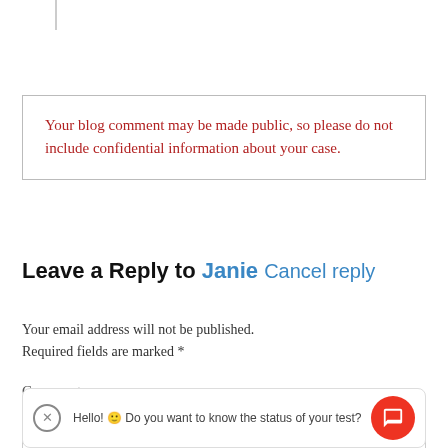Your blog comment may be made public, so please do not include confidential information about your case.
Leave a Reply to Janie Cancel reply
Your email address will not be published. Required fields are marked *
Comment
Hello! 🙂 Do you want to know the status of your test?